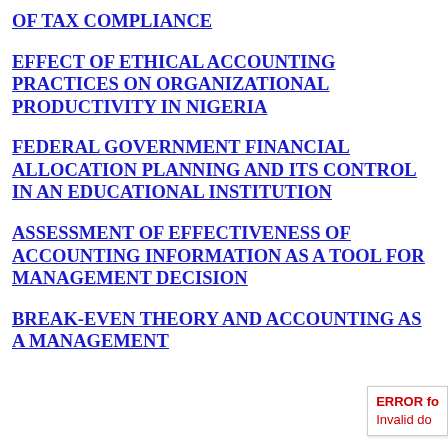OF TAX COMPLIANCE
EFFECT OF ETHICAL ACCOUNTING PRACTICES ON ORGANIZATIONAL PRODUCTIVITY IN NIGERIA
FEDERAL GOVERNMENT FINANCIAL ALLOCATION PLANNING AND ITS CONTROL IN AN EDUCATIONAL INSTITUTION
ASSESSMENT OF EFFECTIVENESS OF ACCOUNTING INFORMATION AS A TOOL FOR MANAGEMENT DECISION
BREAK-EVEN THEORY AND ACCOUNTING AS A MANAGEMENT